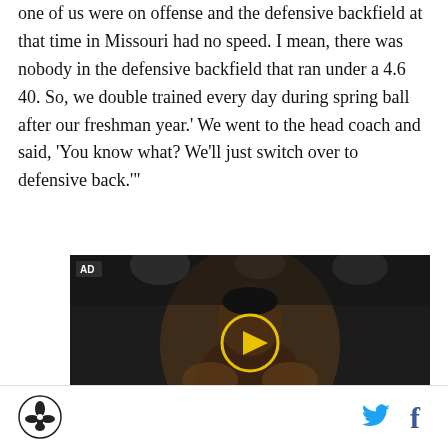one of us were on offense and the defensive backfield at that time in Missouri had no speed. I mean, there was nobody in the defensive backfield that ran under a 4.6 40. So, we double trained every day during spring ball after our freshman year.' We went to the head coach and said, 'You know what? We’ll just switch over to defensive back.'"
[Figure (photo): Video player thumbnail showing a shirtless Black male boxer in a boxing ring with overhead lights, dark crowd in background and a red rope visible. A yellow circle play button is overlaid in the center. AD badge in top left corner.]
Site logo (fleur-de-lis style emblem), Twitter bird icon, Facebook f icon